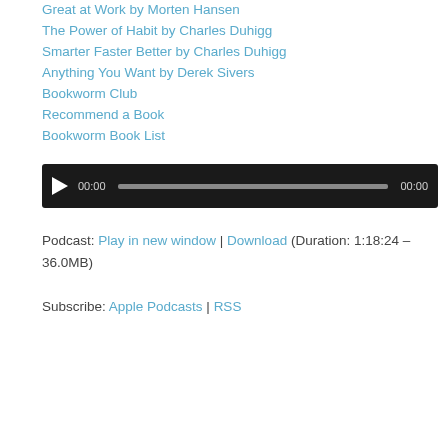Great at Work by Morten Hansen
The Power of Habit by Charles Duhigg
Smarter Faster Better by Charles Duhigg
Anything You Want by Derek Sivers
Bookworm Club
Recommend a Book
Bookworm Book List
[Figure (other): Audio player widget with play button, progress bar showing 00:00 current time and 00:00 total time, dark background]
Podcast: Play in new window | Download (Duration: 1:18:24 – 36.0MB)
Subscribe: Apple Podcasts | RSS